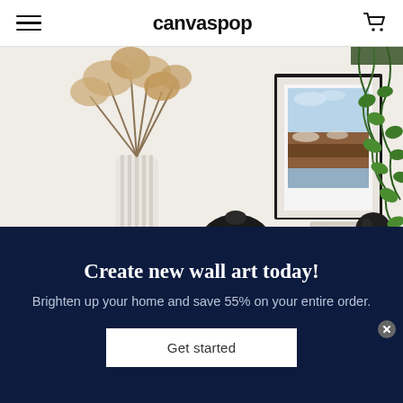canvaspop
[Figure (photo): Interior room scene with a wooden sideboard, white vase with dried pampas grass, black round vase, framed landscape print on white wall, and hanging green plant in the upper right]
Create new wall art today!
Brighten up your home and save 55% on your entire order.
Get started